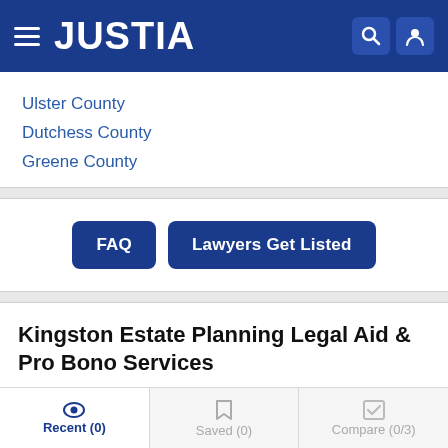JUSTIA
Ulster County
Dutchess County
Greene County
FAQ | Lawyers Get Listed
Kingston Estate Planning Legal Aid & Pro Bono Services
Ulster County Office for the Aging
(845) 340-3456
Recent (0) | Saved (0) | Compare (0/3)